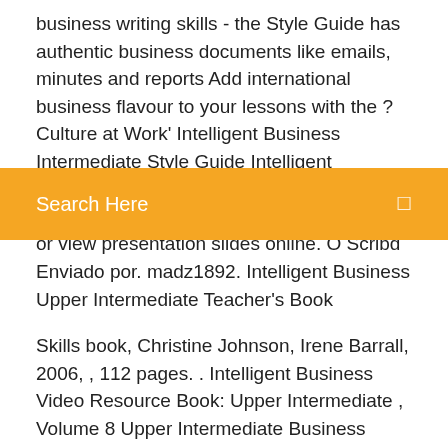business writing skills - the Style Guide has authentic business documents like emails, minutes and reports Add international business flavour to your lessons with the ?Culture at Work' Intelligent Business Intermediate Style Guide Intelligent Business Intermediate Style Guide - Free download as PDF File (.pdf), Text File (.txt) or view presentation slides online. O Scribd
[Figure (other): Orange search bar with text 'Search Here' and a search icon on the right]
Enviado por. madz1892. Intelligent Business Upper Intermediate Teacher's Book
Skills book, Christine Johnson, Irene Barrall, 2006, , 112 pages. . Intelligent Business Video Resource Book: Upper Intermediate , Volume 8 Upper Intermediate Business English, Tonya Trappe, Tony Garside, May 31, 2006, , 47 pages. Intelligent Business uses informative and … Intelligent Business - Upper-Intermediate - Course Book … There's an authentic reading from The Economist® magazine in every unit, so you won't have to